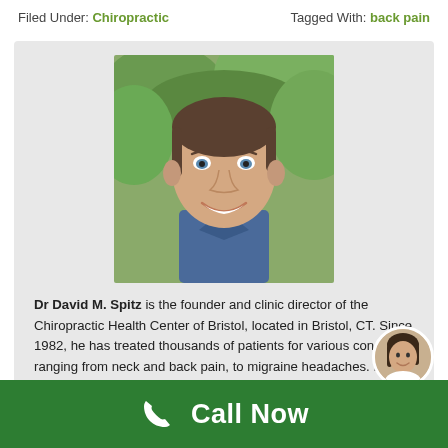Filed Under: Chiropractic    Tagged With: back pain
[Figure (photo): Professional headshot photo of Dr. David M. Spitz, a middle-aged man with a friendly smile, wearing a blue shirt, with green foliage in the background.]
Dr David M. Spitz is the founder and clinic director of the Chiropractic Health Center of Bristol, located in Bristol, CT. Since 1982, he has treated thousands of patients for various conditions ranging from neck and back pain, to migraine headaches. He specializes in treating patients who have suffered whiplash injuries and/or back injuries in
[Figure (photo): Small circular avatar photo of a woman with dark hair, appearing to be a customer service representative.]
Call Now